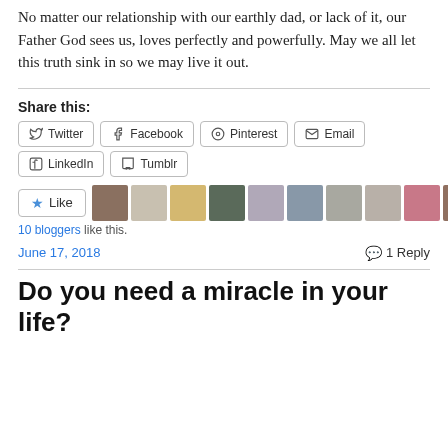No matter our relationship with our earthly dad, or lack of it, our Father God sees us, loves perfectly and powerfully. May we all let this truth sink in so we may live it out.
Share this:
Social share buttons: Twitter, Facebook, Pinterest, Email, LinkedIn, Tumblr
Like button with 10 blogger avatars
10 bloggers like this.
June 17, 2018 — 1 Reply
Do you need a miracle in your life?